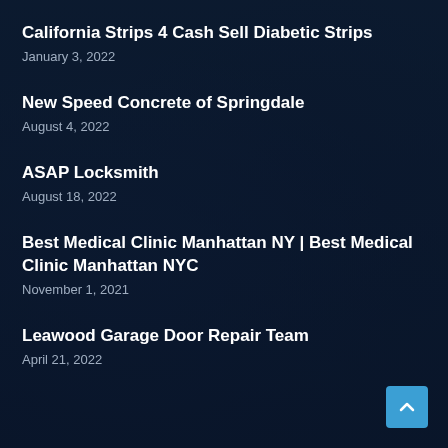California Strips 4 Cash Sell Diabetic Strips
January 3, 2022
New Speed Concrete of Springdale
August 4, 2022
ASAP Locksmith
August 18, 2022
Best Medical Clinic Manhattan NY | Best Medical Clinic Manhattan NYC
November 1, 2021
Leawood Garage Door Repair Team
April 21, 2022